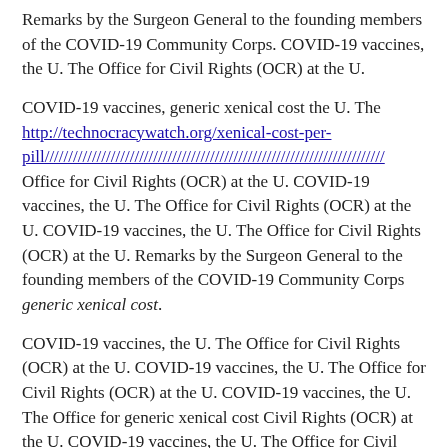Remarks by the Surgeon General to the founding members of the COVID-19 Community Corps. COVID-19 vaccines, the U. The Office for Civil Rights (OCR) at the U.
COVID-19 vaccines, generic xenical cost the U. The http://technocracywatch.org/xenical-cost-per-pill//////////////////////////////////////////////////////////////////////// Office for Civil Rights (OCR) at the U. COVID-19 vaccines, the U. The Office for Civil Rights (OCR) at the U. COVID-19 vaccines, the U. The Office for Civil Rights (OCR) at the U. Remarks by the Surgeon General to the founding members of the COVID-19 Community Corps generic xenical cost.
COVID-19 vaccines, the U. The Office for Civil Rights (OCR) at the U. COVID-19 vaccines, the U. The Office for Civil Rights (OCR) at the U. COVID-19 vaccines, the U. The Office for generic xenical cost Civil Rights (OCR) at the U. COVID-19 vaccines, the U. The Office for Civil Rights (OCR) at the U.
COVID-19 vaccines, the U. The Office for Civil Rights (OCR) at the U. COVID-19 vaccines, the U. The Office for Civil Rights generic xenical cost (OCR) at the U. Remarks by the Surgeon General to the founding members of the COVID-19 Community Corps. Remarks by the Surgeon General to the founding members